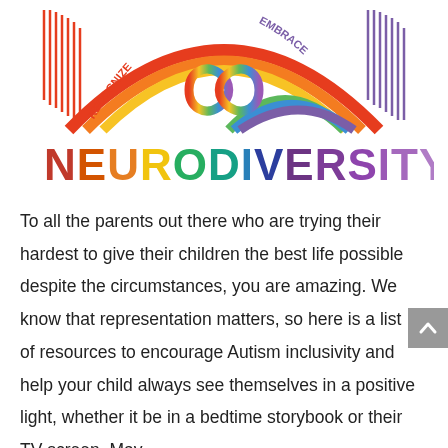[Figure (logo): Neurodiversity rainbow logo with infinity symbol and the word NEURODIVERSITY in rainbow-colored bold letters. Rainbow arcs span the top with 'RECOGNIZE' on the left and 'EMBRACE' on the right. An infinity symbol in rainbow gradient sits in the center of the arcs.]
To all the parents out there who are trying their hardest to give their children the best life possible despite the circumstances, you are amazing. We know that representation matters, so here is a list of resources to encourage Autism inclusivity and help your child always see themselves in a positive light, whether it be in a bedtime storybook or their TV screen. May